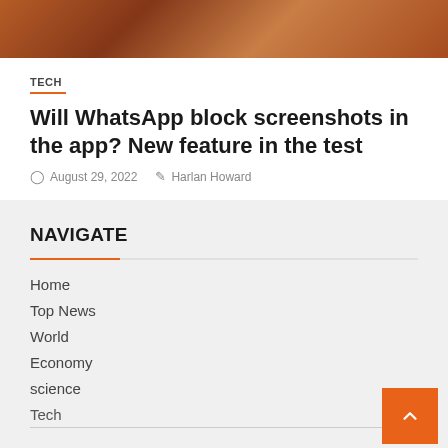[Figure (photo): Close-up photo of hands, warm orange/brown tones, partial view at top of page]
TECH
Will WhatsApp block screenshots in the app? New feature in the test
August 29, 2022   Harlan Howard
NAVIGATE
Home
Top News
World
Economy
science
Tech